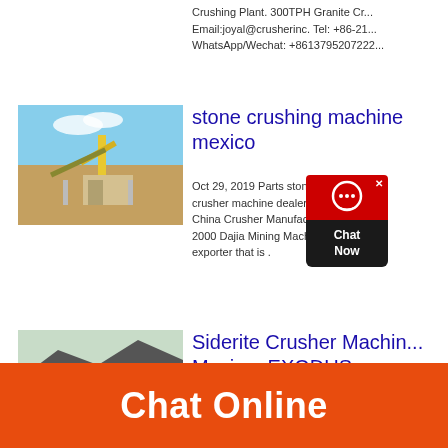Crushing Plant. 300TPH Granite Cr... Email:joyal@crusherinc. Tel: +86-21... WhatsApp/Wechat: +8613795207222
[Figure (photo): Photo of a stone crushing plant/quarry with yellow equipment and blue sky]
stone crushing machine mexico
Oct 29, 2019 Parts stone crus... crusher machine dealer in me... China Crusher Manufacturer ... 2000 Dajia Mining Machinery Co Ltd... exporter that is .
[Figure (photo): Photo of a blue mobile crusher machine in a quarry setting]
Siderite Crusher Machine Mexico- EXODUS
Small Hammer Crusher Suppliers In...
Chat Online